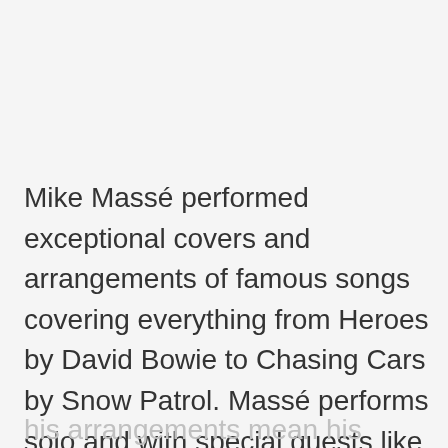Mike Massé performed exceptional covers and arrangements of famous songs covering everything from Heroes by David Bowie to Chasing Cars by Snow Patrol. Massé performs solo and with special guests like his bass player buddy Jeff Hall. Both his incredible voice and the quality of
his arrangements mean his channel now